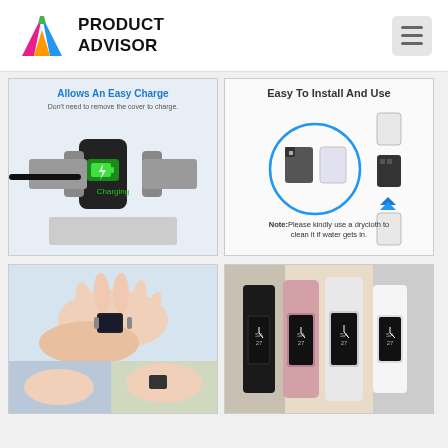[Figure (logo): Product Advisor logo with colorful triangle A icon and bold text PRODUCT ADVISOR]
[Figure (photo): Smartwatch charging with cable, green battery icon showing Charging, gray woven band, with text Allows An Easy Charge - Don't need to remove the cover to charge.]
[Figure (photo): Easy To Install And Use diagram showing clear case installation steps with blue circle highlight, Note: Please kindly use a drycloth to clean it if water gets in.]
[Figure (photo): Hands adjusting a small smartwatch with silver case on wrist]
[Figure (photo): Multiple smartwatch bands in black, pink and white colors showing clock face with SA 27 display]